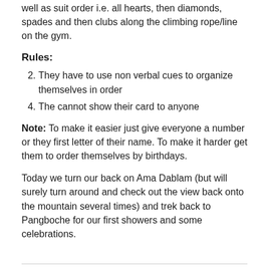well as suit order i.e. all hearts, then diamonds, spades and then clubs along the climbing rope/line on the gym.
Rules:
They have to use non verbal cues to organize themselves in order
The cannot show their card to anyone
Note: To make it easier just give everyone a number or they first letter of their name. To make it harder get them to order themselves by birthdays.
Today we turn our back on Ama Dablam (but will surely turn around and check out the view back onto the mountain several times) and trek back to Pangboche for our first showers and some celebrations.